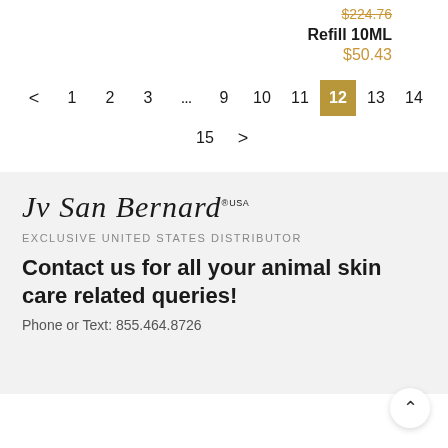$224.76
Refill 10ML
$50.43
< 1 2 3 ... 9 10 11 12 13 14 15 >
[Figure (logo): Iv San Bernard USA logo in italic serif font]
EXCLUSIVE UNITED STATES DISTRIBUTOR
Contact us for all your animal skin care related queries!
Phone or Text: 855.464.8726